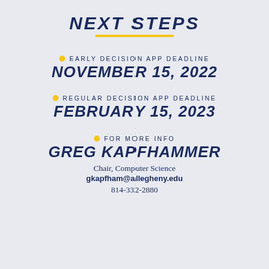NEXT STEPS
EARLY DECISION APP DEADLINE — NOVEMBER 15, 2022
REGULAR DECISION APP DEADLINE — FEBRUARY 15, 2023
FOR MORE INFO — GREG KAPFHAMMER
Chair, Computer Science
gkapfham@allegheny.edu
814-332-2880